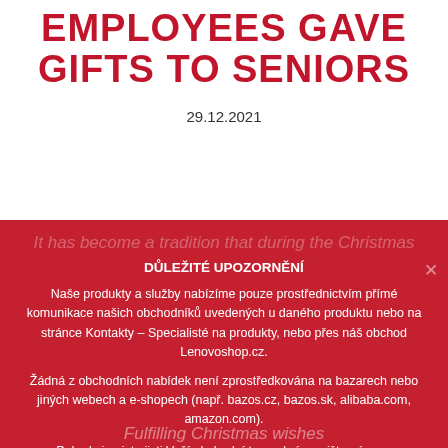EMPLOYEES GAVE GIFTS TO SENIORS
29.12.2021
It has become a tradition that during the Christmas holidays the employees of our company ...
DŮLEŽITÉ UPOZORNĚNÍ
Naše produkty a služby nabízíme pouze prostřednictvím přímé komunikace našich obchodníků uvedených u daného produktu nebo na stránce Kontakty – Specialisté na produkty, nebo přes náš obchod Lenovoshop.cz.
Žádná z obchodních nabídek není zprostředkována na bazarech nebo jiných webech a e-shopech (např. bazos.cz, bazos.sk, alibaba.com, amazon.com).
Pokud si nejste jisti Vaší obchodní transakcí, napište nám na oznameni@mcomputers.cz nebo zavolejte na +420 515 538 120.
Fulfilling Christmas wishes
OK